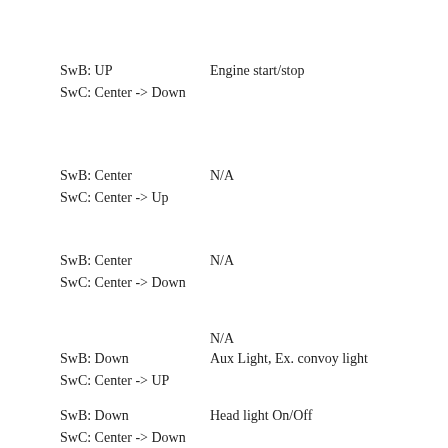SwB: UP
SwC: Center -> Down
Engine start/stop
SwB: Center
SwC: Center -> Up
N/A
SwB: Center
SwC: Center -> Down
N/A
N/A
SwB: Down
SwC: Center -> UP
Aux Light, Ex. convoy light
SwB: Down
SwC: Center -> Down
Head light On/Off